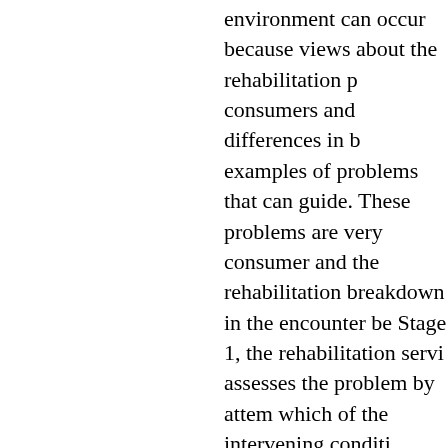environment can occur because views about the rehabilitation p... consumers and differences in b... examples of problems that can guide. These problems are very consumer and the rehabilitation breakdown in the encounter be... Stage 1, the rehabilitation servi... assesses the problem by attem... which of the intervening conditi... broker to identify the problem a... and diversity of culture, and se... shaping the human view of disa... variables influence provision of resources and references to as... knowledge, sensitivity and skills information on the culture of spe...
After the problem has been clar...